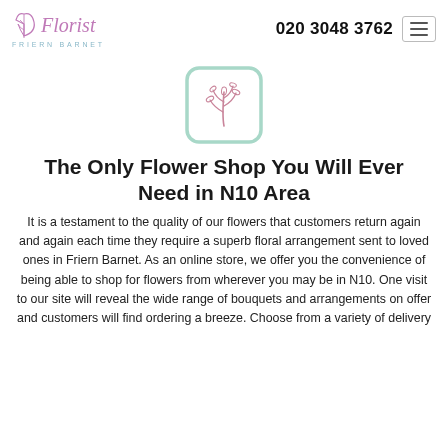Florist FRIERN BARNET — 020 3048 3762
[Figure (logo): Florist logo with decorative leaf/branch icon inside a rounded square mint-green outline]
The Only Flower Shop You Will Ever Need in N10 Area
It is a testament to the quality of our flowers that customers return again and again each time they require a superb floral arrangement sent to loved ones in Friern Barnet. As an online store, we offer you the convenience of being able to shop for flowers from wherever you may be in N10. One visit to our site will reveal the wide range of bouquets and arrangements on offer and customers will find ordering a breeze. Choose from a variety of delivery